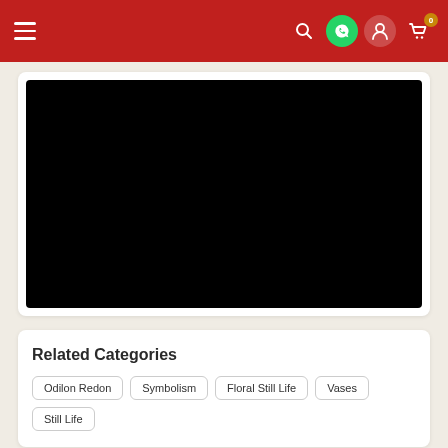Navigation bar with hamburger menu, search, WhatsApp, user account, and cart icons
[Figure (photo): Black image/video area inside a white card]
Related Categories
Odilon Redon
Symbolism
Floral Still Life
Vases
Still Life